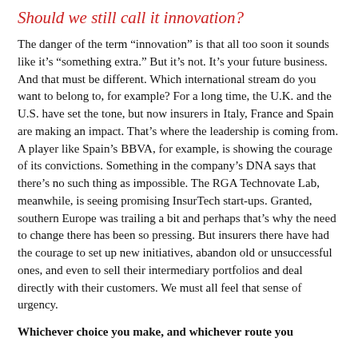Should we still call it innovation?
The danger of the term “innovation” is that all too soon it sounds like it’s “something extra.” But it’s not. It’s your future business. And that must be different. Which international stream do you want to belong to, for example? For a long time, the U.K. and the U.S. have set the tone, but now insurers in Italy, France and Spain are making an impact. That’s where the leadership is coming from. A player like Spain’s BBVA, for example, is showing the courage of its convictions. Something in the company’s DNA says that there’s no such thing as impossible. The RGA Technovate Lab, meanwhile, is seeing promising InsurTech start-ups. Granted, southern Europe was trailing a bit and perhaps that’s why the need to change there has been so pressing. But insurers there have had the courage to set up new initiatives, abandon old or unsuccessful ones, and even to sell their intermediary portfolios and deal directly with their customers. We must all feel that sense of urgency.
Whichever choice you make, and whichever route you